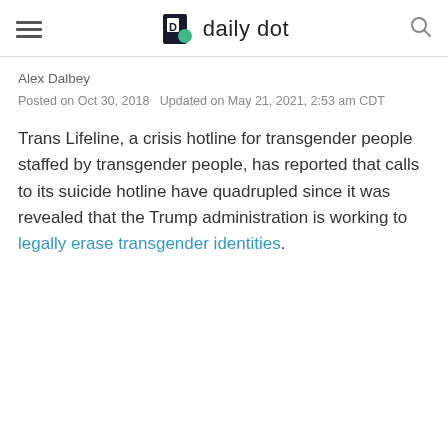daily dot
Alex Dalbey
Posted on Oct 30, 2018   Updated on May 21, 2021, 2:53 am CDT
Trans Lifeline, a crisis hotline for transgender people staffed by transgender people, has reported that calls to its suicide hotline have quadrupled since it was revealed that the Trump administration is working to legally erase transgender identities.